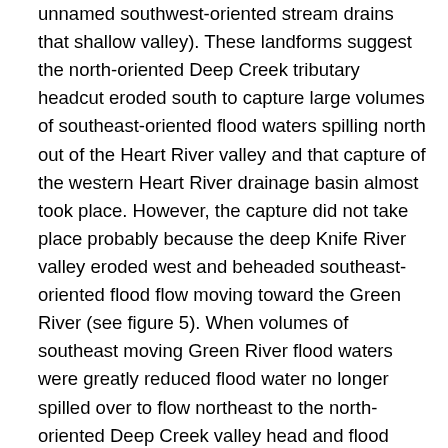unnamed southwest-oriented stream drains that shallow valley). These landforms suggest the north-oriented Deep Creek tributary headcut eroded south to capture large volumes of southeast-oriented flood waters spilling north out of the Heart River valley and that capture of the western Heart River drainage basin almost took place. However, the capture did not take place probably because the deep Knife River valley eroded west and beheaded southeast-oriented flood flow moving toward the Green River (see figure 5). When volumes of southeast moving Green River flood waters were greatly reduced flood water no longer spilled over to flow northeast to the north-oriented Deep Creek valley head and flood water moving toward the Deep Creek valley head in the shallow valley and elsewhere drained back toward the Heart River to create the southwest-oriented Heart River tributary present today. Figure 5 illustrates how headward erosion